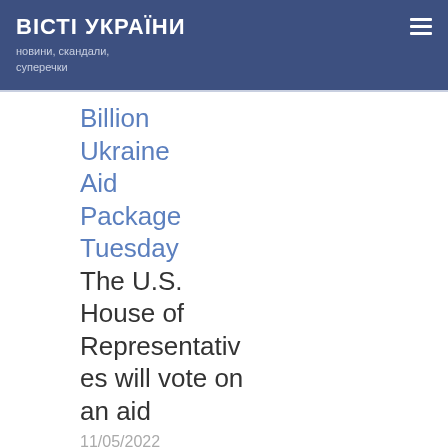ВІСТІ УКРАЇНИ
новини, скандали, суперечки
Billion
Ukraine
Aid
Package
Tuesday
The U.S. House of Representatives will vote on an aid
11/05/2022